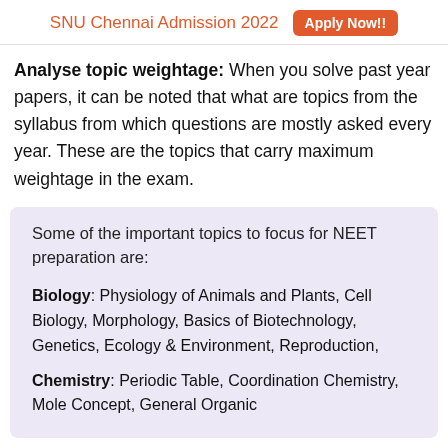SNU Chennai Admission 2022   Apply Now!!
Analyse topic weightage: When you solve past year papers, it can be noted that what are topics from the syllabus from which questions are mostly asked every year. These are the topics that carry maximum weightage in the exam.
Some of the important topics to focus for NEET preparation are:
Biology: Physiology of Animals and Plants, Cell Biology, Morphology, Basics of Biotechnology, Genetics, Ecology & Environment, Reproduction,
Chemistry: Periodic Table, Coordination Chemistry, Mole Concept, General Organic